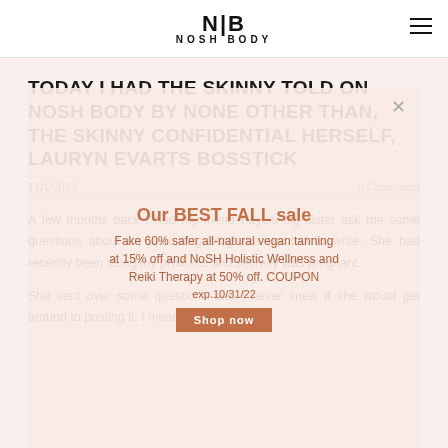NB NOSH BODY
TODAY I HAD THE SKINNY TOLD ON NOSH BODY BY NONE OTHER THAN, THE SKINNY CONFIDENTIAL HERSELF, LAURYN EVARTS BOSSTICK
11/1/2019   0 Comments
A few months back I had my friend Faye's big sister ask me some questions about an upcoming blog she wanted to write. She had recently been using my products and secretly was pregnant.
She sent over some questions and I never knew if she would get around to posting it, I mean she
[Figure (other): Popup overlay showing 'Our BEST FALL sale' promotional message with discount text and Shop now button]